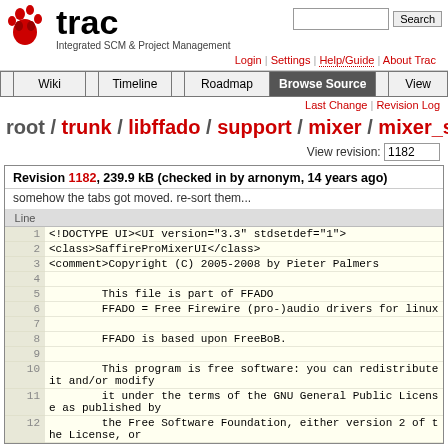[Figure (logo): Trac logo with red paw print and text 'trac - Integrated SCM & Project Management']
Login | Settings | Help/Guide | About Trac
Wiki | Timeline | Roadmap | Browse Source | View | Ti...
Last Change | Revision Log
root / trunk / libffado / support / mixer / mixer_saf...
View revision: 1182
Revision 1182, 239.9 kB (checked in by arnonym, 14 years ago)
somehow the tabs got moved. re-sort them...
| Line |  |
| --- | --- |
| 1 | <!DOCTYPE UI><UI version="3.3" stdsetdef="1"> |
| 2 | <class>SaffireProMixerUI</class> |
| 3 | <comment>Copyright (C) 2005-2008 by Pieter Palmers |
| 4 |  |
| 5 |         This file is part of FFADO |
| 6 |         FFADO = Free Firewire (pro-)audio drivers for linux |
| 7 |  |
| 8 |         FFADO is based upon FreeBoB. |
| 9 |  |
| 10 |         This program is free software: you can redistribute it and/or modify |
| 11 |         it under the terms of the GNU General Public License as published by |
| 12 |         the Free Software Foundation, either version 2 of the License, or |